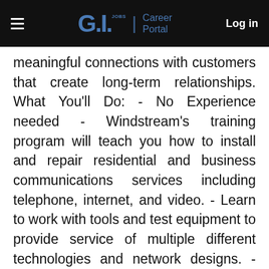G.I. Jobs | Career Portal  Log in
meaningful connections with customers that create long-term relationships. What You'll Do: - No Experience needed - Windstream's training program will teach you how to install and repair residential and business communications services including telephone, internet, and video. - Learn to work with tools and test equipment to provide service of multiple different technologies and network designs. - Recommend products and services to